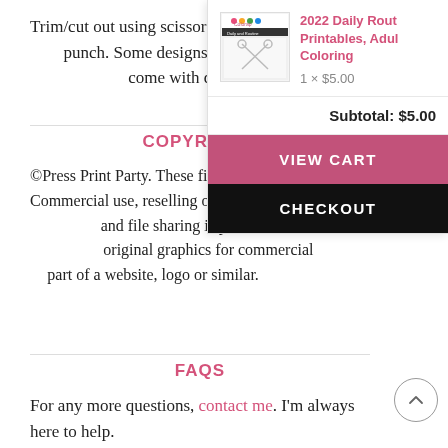Trim/cut out using scissors, craft knife, and a hole punch. Some designs may need assembly. Some designs come with detailed instructions.
COPYRIGHT
©Press Print Party. These files are for personal use. Commercial use, reselling of printed copies, alterations and file sharing is prohibited. You may not use the original graphics for commercial use, or as part of a website, logo or similar.
FAQS
For any more questions, contact me. I'm always here to help. 2021 Monthly Printable Calendar Template, Watercolor Mandala, Bullet Journal Calendar Download, Monthly Planner, Sunday, INSTANT DOWNLOAD
[Figure (screenshot): Cart popup showing product thumbnail, title '2022 Daily Rout Printables, Adul Coloring', price '1 × $5.00', subtotal '$5.00', VIEW CART button, and CHECKOUT button]